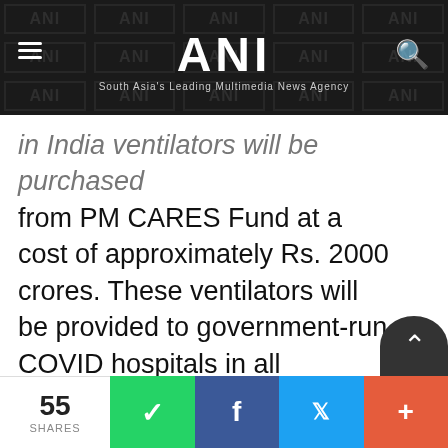ANI — South Asia's Leading Multimedia News Agency
in India ventilators will be purchased from PM CARES Fund at a cost of approximately Rs. 2000 crores. These ventilators will be provided to government-run COVID hospitals in all States/UTs, for better treatment of the critical COVID-19 cases."
In the meantime, orders have been placed on international companies like Hamilton, Mindray and Draeger to supply ventilators. Ministry of Extern…
55 SHARES